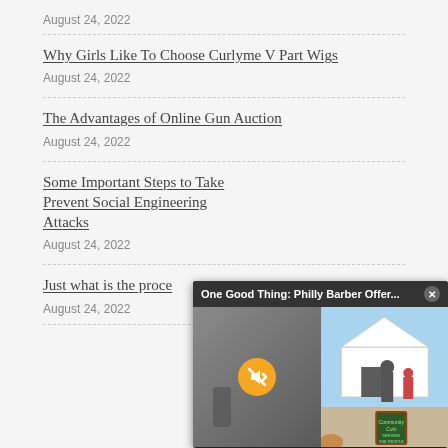August 24, 2022
Why Girls Like To Choose Curlyme V Part Wigs
August 24, 2022
The Advantages of Online Gun Auction
August 24, 2022
Some Important Steps to Take Prevent Social Engineering Attacks
August 24, 2022
Just what is the proce...
August 24, 2022
[Figure (screenshot): Video popup overlay titled 'One Good Thing: Philly Barber Offer...' showing an outdoor scene with a tent and people, with a mute button and close button]